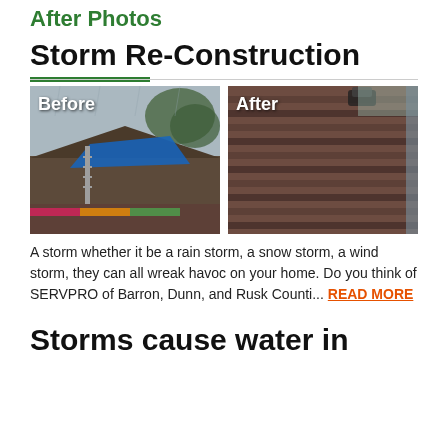After Photos
Storm Re-Construction
[Figure (photo): Before and After photos of storm reconstruction. Left photo labeled 'Before' shows a damaged roof with a blue tarp and ladder. Right photo labeled 'After' shows a completed new brown roof.]
A storm whether it be a rain storm, a snow storm, a wind storm, they can all wreak havoc on your home. Do you think of SERVPRO of Barron, Dunn, and Rusk Counti... READ MORE
Storms cause water in